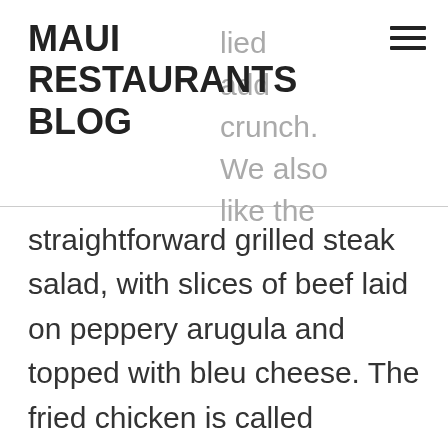MAUI RESTAURANTS BLOG
straightforward grilled steak salad, with slices of beef laid on peppery arugula and topped with bleu cheese. The fried chicken is called “southern” but we find the batter not quite as crispy as that implies. It is, however, tender, juicy, and despite the rather flat breading, better than any of the katsu we’ve had on the island. If